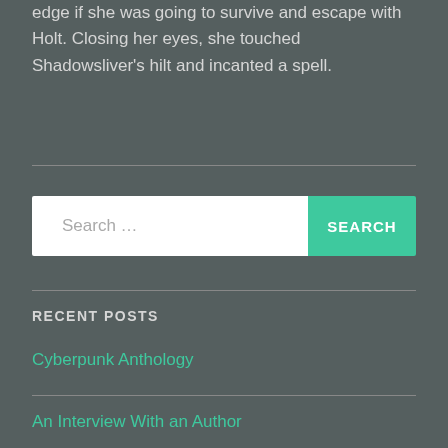edge if she was going to survive and escape with Holt. Closing her eyes, she touched Shadowsliver's hilt and incanted a spell.
[Figure (other): Search bar with white input field labeled 'Search ...' and a green button labeled 'SEARCH']
RECENT POSTS
Cyberpunk Anthology
An Interview With an Author